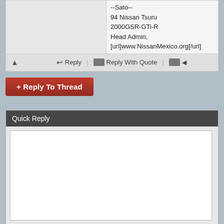--Sato--
94 Nissan Tsuru
2000GSR-GTi-R
Head Admin,
[url]www.NissanMexico.org[/url]
Reply | Reply With Quote
+ Reply To Thread
Quick Reply